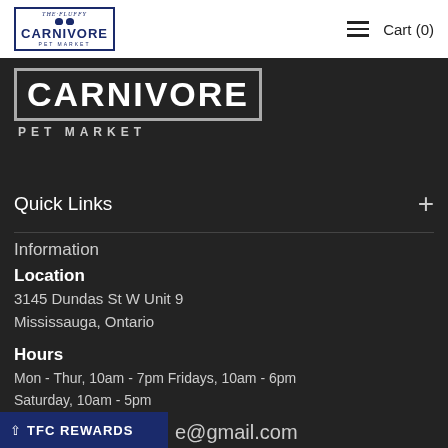The Fluffy Carnivore Pet Market — Cart (0)
[Figure (logo): The Fluffy Carnivore Pet Market logo with CARNIVORE text in bordered box and PET MARKET subtitle below on dark background]
Quick Links
Information
Location
3145 Dundas St W Unit 9
Mississauga, Ontario
Hours
Mon - Thur, 10am - 7pm Fridays, 10am - 6pm
Saturday, 10am - 5pm
Sunday, 12pm - 4pm
TFC REWARDS
e@gmail.com